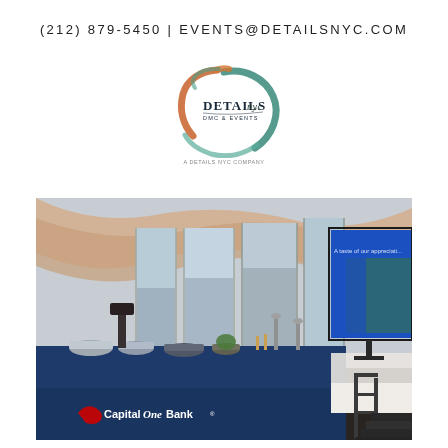(212) 879-5450 | EVENTS@DETAILSNYC.COM
[Figure (logo): Details NYC DMC & Events circular logo with colorful brush strokes surrounding the text DETAILS nyc DMC & EVENTS]
[Figure (photo): Corporate event setup showing a buffet table with blue Capital One Bank branded tablecloth and food service bowls, set in a venue with floor-to-ceiling windows and draped ceiling, with a presentation screen showing a blue slide in the background]